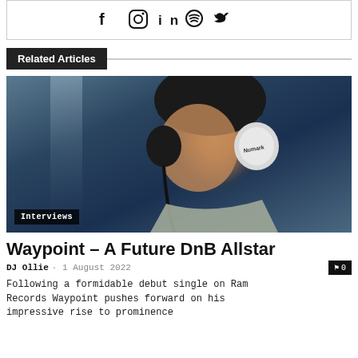[Figure (illustration): Social media icons bar: Facebook, Instagram, LinkedIn, Spotify, Twitter]
Related Articles
[Figure (photo): Young male DJ wearing Numark headphones, looking downward, in a dark blue lit environment. An 'Interviews' tag is overlaid at the bottom left.]
Waypoint – A Future DnB Allstar
DJ Ollie · 1 August 2022
Following a formidable debut single on Ram Records Waypoint pushes forward on his impressive rise to prominence